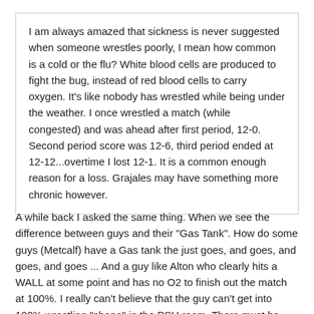I am always amazed that sickness is never suggested when someone wrestles poorly, I mean how common is a cold or the flu? White blood cells are produced to fight the bug, instead of red blood cells to carry oxygen. It's like nobody has wrestled while being under the weather. I once wrestled a match (while congested) and was ahead after first period, 12-0. Second period score was 12-6, third period ended at 12-12...overtime I lost 12-1. It is a common enough reason for a loss. Grajales may have something more chronic however.
A while back I asked the same thing. When we see the difference between guys and their "Gas Tank". How do some guys (Metcalf) have a Gas tank the just goes, and goes, and goes, and goes ... And a guy like Alton who clearly hits a WALL at some point and has no O2 to finish out the match at 100%. I really can't believe that the guy can't get into 100% wrestling "shape" in the PSU room. There must be something not right. And I can't believe "desire" or work ethic is the culprit. There is either an Issue of Weight Class, and/or a physical issue.